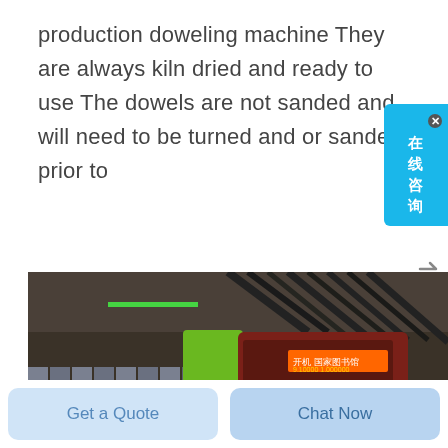production doweling machine They are always kiln dried and ready to use The dowels are not sanded and will need to be turned and or sanded prior to
[Figure (photo): Interior of a subway/metro station showing a train with green and red livery, LED destination display showing Chinese characters, platform with barriers, industrial ceiling with pipes and wiring.]
Get a Quote
Chat Now